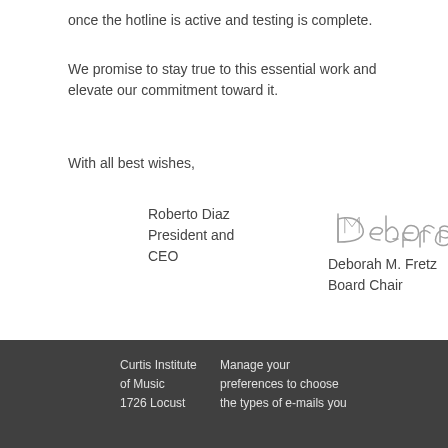once the hotline is active and testing is complete.
We promise to stay true to this essential work and elevate our commitment toward it.
With all best wishes,
[Figure (illustration): Handwritten signature of Deborah M. Fretz]
Roberto Diaz
President and CEO
Deborah M. Fretz
Board Chair
Curtis Institute of Music
1726 Locust
Manage your preferences to choose the types of e-mails you